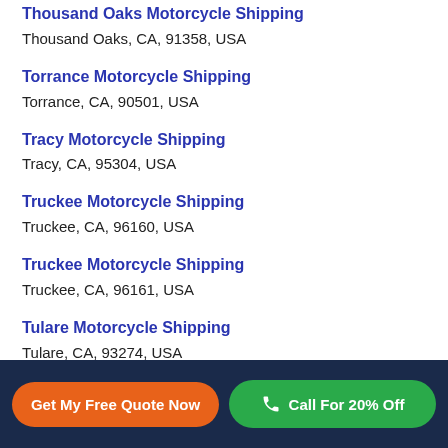Thousand Oaks Motorcycle Shipping
Thousand Oaks, CA, 91358, USA
Torrance Motorcycle Shipping
Torrance, CA, 90501, USA
Tracy Motorcycle Shipping
Tracy, CA, 95304, USA
Truckee Motorcycle Shipping
Truckee, CA, 96160, USA
Truckee Motorcycle Shipping
Truckee, CA, 96161, USA
Tulare Motorcycle Shipping
Tulare, CA, 93274, USA
Get My Free Quote Now | Call For 20% Off